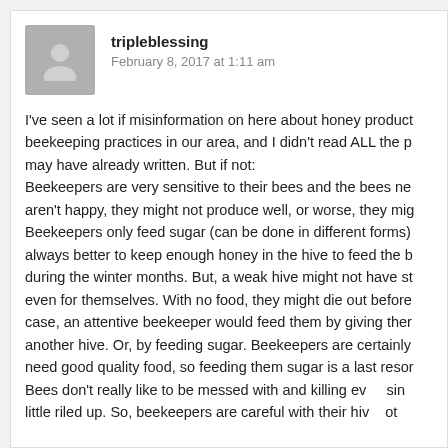[Figure (illustration): User avatar placeholder - grey silhouette of a person]
tripleblessing
February 8, 2017 at 1:11 am
I've seen a lot if misinformation on here about honey products and beekeeping practices in our area, and I didn't read ALL the posts someone may have already written. But if not: Beekeepers are very sensitive to their bees and the bees need to be happy. If they aren't happy, they might not produce well, or worse, they might leave. Beekeepers only feed sugar (can be done in different forms) as a last resort. It's always better to keep enough honey in the hive to feed the bees (themselves) during the winter months. But, a weak hive might not have stored enough, even for themselves. With no food, they might die out before spring. In that case, an attentive beekeeper would feed them by giving them honey from another hive. Or, by feeding sugar. Beekeepers are certainly aware that bees need good quality food, so feeding them sugar is a last resort. Bees don't really like to be messed with and killing even a single bee gets them a little riled up. So, beekeepers are careful with their hives not only